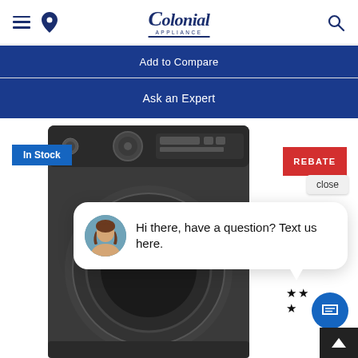Colonial Appliance
Add to Compare
Ask an Expert
In Stock
[Figure (photo): GE front-load washer/dryer in dark graphite color, with In Stock badge, rebate badge, and close button overlay]
REBATE
close
Hi there, have a question? Text us here.